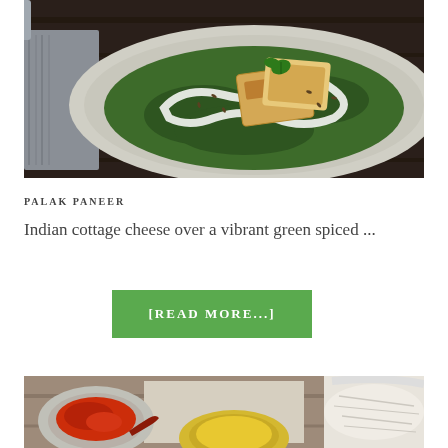[Figure (photo): Overhead photo of palak paneer dish — green spinach curry in a white bowl with golden pan-fried paneer cubes on top, drizzled with cream and garnished with a herb leaf and seeds]
PALAK PANEER
Indian cottage cheese over a vibrant green spiced ...
[READ MORE...]
[Figure (photo): Partial overhead photo of Indian food ingredients — red spice powder in a bowl, dried chili, a yellow bowl of something, and shredded white ingredient on a cloth]